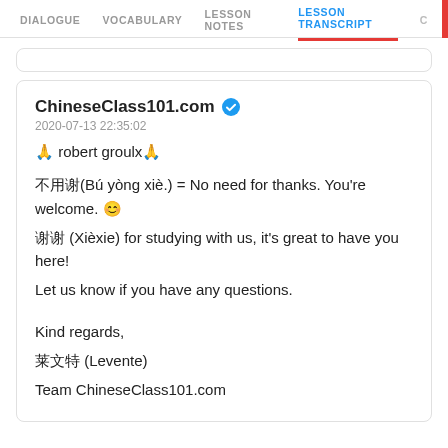DIALOGUE  VOCABULARY  LESSON NOTES  LESSON TRANSCRIPT  C
ChineseClass101.com ✔
2020-07-13 22:35:02
🙏 robert groulx🙏
不用谢(Bú yòng xiè.) = No need for thanks. You're welcome. 😊
谢谢 (Xièxie) for studying with us, it's great to have you here!
Let us know if you have any questions.
Kind regards,
莱文特 (Levente)
Team ChineseClass101.com